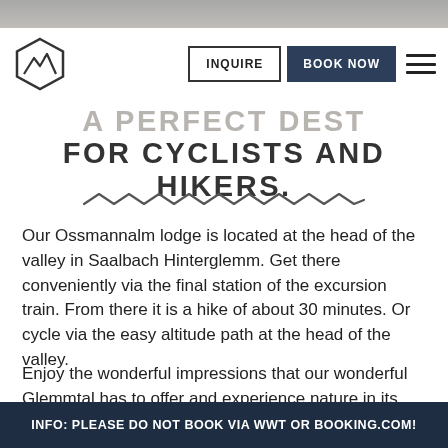[Figure (screenshot): Top image bar showing a blurred outdoor/mountain scene]
[Figure (logo): Hexagonal logo with mountain/landscape icon]
INQUIRE   BOOK NOW
A PERFECT DESTINATION FOR CYCLISTS AND HIKERS.
[Figure (illustration): Zigzag/wave decorative divider line]
Our Ossmannalm lodge is located at the head of the valley in Saalbach Hinterglemm. Get there conveniently via the final station of the excursion train. From there it is a hike of about 30 minutes. Or cycle via the easy altitude path at the head of the valley.
Enjoy the wonderful impressions that our wonderful Glemmtal has to offer and experience nature in its many facets. When you get here we serve you
INFO: PLEASE DO NOT BOOK VIA WWT OR BOOKING.COM!